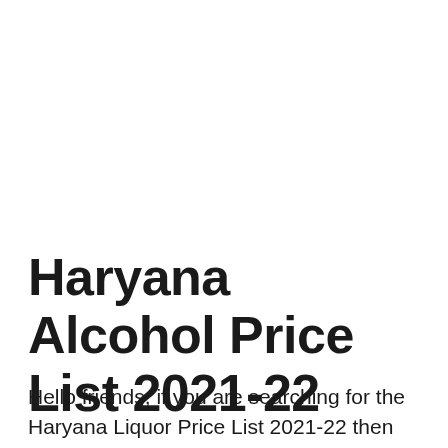Haryana Alcohol Price List 2021-22
Hello friends, if you are searching for the Haryana Liquor Price List 2021-22 then you are at the right place because here we are going to upload it for you below in this